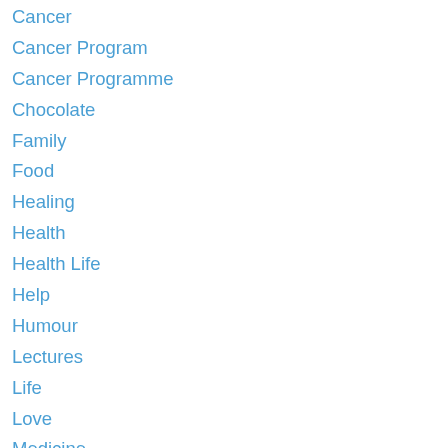Cancer
Cancer Program
Cancer Programme
Chocolate
Family
Food
Healing
Health
Health Life
Help
Humour
Lectures
Life
Love
Medicine
Psychic
Reiki
Relieving Suffering
Religion
Science
Soul